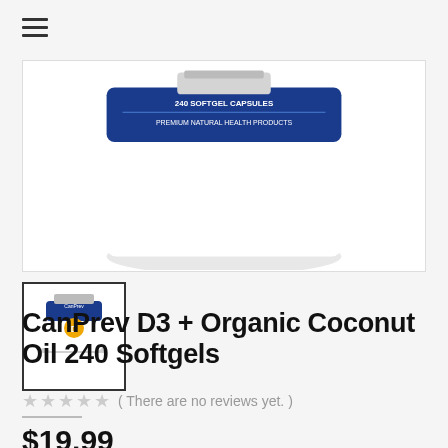[Figure (screenshot): Hamburger menu icon (three horizontal lines) at top left]
[Figure (photo): Main product image: CanPrev D3 + Organic Coconut Oil 240 Softgels bottle with blue label, top portion visible showing '240 SOFTGEL CAPSULES' and 'PREMIUM NATURAL HEALTH PRODUCTS', white bottle on white background]
[Figure (photo): Thumbnail image of CanPrev D3 + Organic Coconut Oil 240 Softgels blue bottle with gold accent, shown in square thumbnail with black border]
CanPrev D3 + Organic Coconut Oil 240 Softgels
( There are no reviews yet. )
$19.99